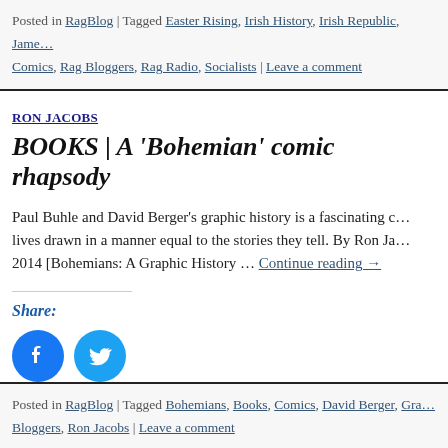Posted in RagBlog | Tagged Easter Rising, Irish History, Irish Republic, James Connolly, Comics, Rag Bloggers, Rag Radio, Socialists | Leave a comment
RON JACOBS
BOOKS | A 'Bohemian' comic rhapsody
Paul Buhle and David Berger's graphic history is a fascinating collection of lives drawn in a manner equal to the stories they tell. By Ron Jacobs | 2014 [Bohemians: A Graphic History … Continue reading →
Share:
[Figure (illustration): Facebook and Twitter share icon buttons (circular blue icons)]
Posted in RagBlog | Tagged Bohemians, Books, Comics, David Berger, Graphic Novel, Rag Bloggers, Ron Jacobs | Leave a comment